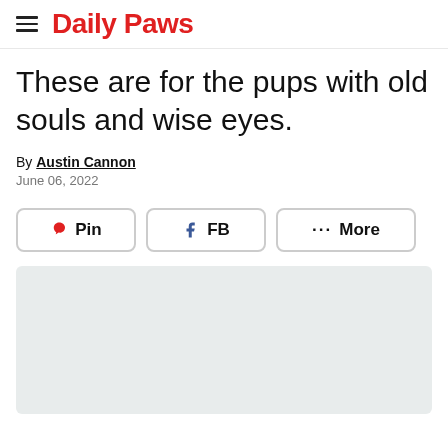Daily Paws
These are for the pups with old souls and wise eyes.
By Austin Cannon
June 06, 2022
[Figure (other): Share buttons row: Pin (Pinterest), FB (Facebook), More]
[Figure (photo): Light gray image placeholder rectangle]